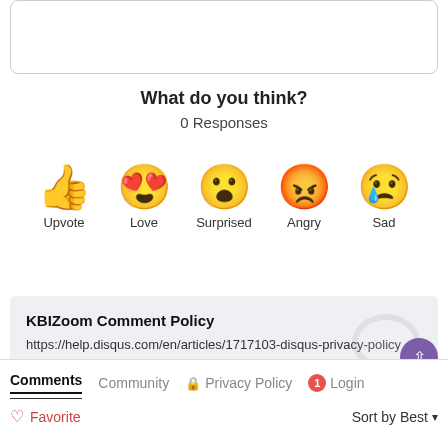What do you think?
0 Responses
[Figure (infographic): Five emoji reaction icons: thumbs up (Upvote), heart eyes (Love), surprised face (Surprised), angry red face (Angry), crying face (Sad)]
KBIZoom Comment Policy
https://help.disqus.com/en/articles/1717103-disqus-privacy-policy
Please read our Comment Policy before commenting.
Comments  Community  🔒 Privacy Policy  1  Login
♥ Favorite    Sort by Best ▾